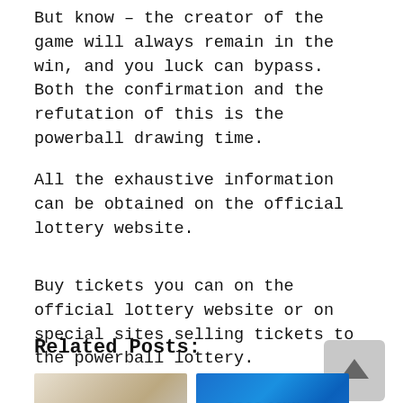But know – the creator of the game will always remain in the win, and you luck can bypass. Both the confirmation and the refutation of this is the powerball drawing time.
All the exhaustive information can be obtained on the official lottery website.
Buy tickets you can on the official lottery website or on special sites selling tickets to the powerball lottery.
Related Posts:
[Figure (photo): Thumbnail image of lottery tickets]
[Figure (photo): Thumbnail image with text '$260 Million' on blue background]